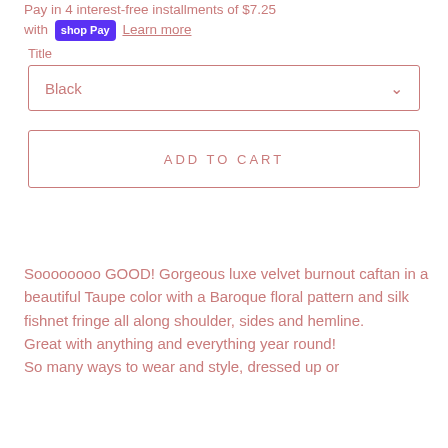Pay in 4 interest-free installments of $7.25 with Shop Pay Learn more
Title
Black
ADD TO CART
Soooooooo GOOD! Gorgeous luxe velvet burnout caftan in a beautiful Taupe color with a Baroque floral pattern and silk fishnet fringe all along shoulder, sides and hemline.
Great with anything and everything year round!
So many ways to wear and style, dressed up or